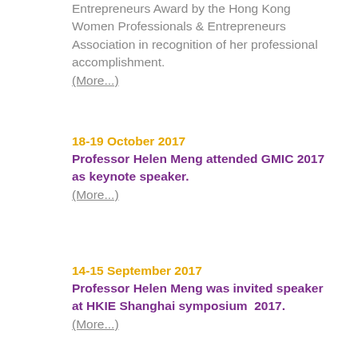Entrepreneurs Award by the Hong Kong Women Professionals & Entrepreneurs Association in recognition of her professional accomplishment. (More...)
18-19 October 2017
Professor Helen Meng attended GMIC 2017 as keynote speaker. (More...)
14-15 September 2017
Professor Helen Meng was invited speaker at HKIE Shanghai symposium  2017. (More...)